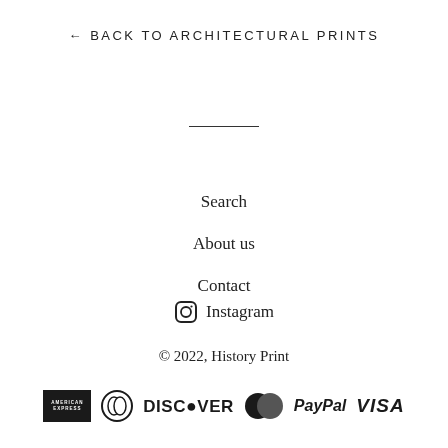← BACK TO ARCHITECTURAL PRINTS
Search
About us
Contact
Instagram
© 2022, History Print
[Figure (logo): Payment method logos: American Express, Diners Club, Discover, MasterCard, PayPal, VISA]